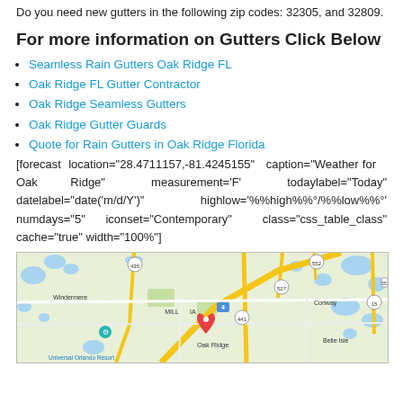Do you need new gutters in the following zip codes: 32305, and 32809.
For more information on Gutters Click Below
Seamless Rain Gutters Oak Ridge FL
Oak Ridge FL Gutter Contractor
Oak Ridge Seamless Gutters
Oak Ridge Gutter Guards
Quote for Rain Gutters in Oak Ridge Florida
[forecast location="28.4711157,-81.4245155" caption="Weather for Oak Ridge" measurement='F' todaylabel="Today" datelabel="date('m/d/Y')" highlow='%%high%%°/%%low%%°' numdays="5" iconset="Contemporary" class="css_table_class" cache="true" width="100%"]
[Figure (map): Google map showing Oak Ridge, FL area with roads, highways (I-4, 435, 527, 441, 552, 15), water features, neighborhoods (Windermere, Conway, Belle Isle, Millenia), Universal Orlando Resort label, and location markers for Oak Ridge.]